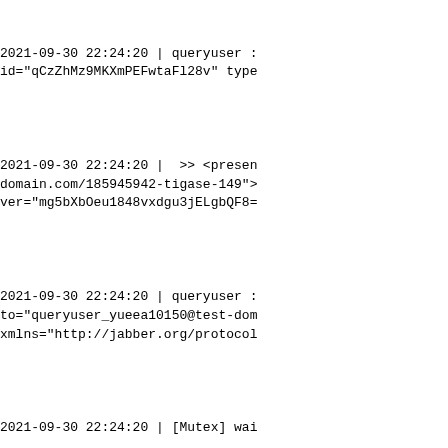2021-09-30 22:24:20 | queryuser : id="qCzZhMz9MKXmPEFwtaFl28v" type
2021-09-30 22:24:20 |  >> <presen domain.com/185945942-tigase-149"> ver="mg5bXbOeu1848vxdgu3jELgbQF8=
2021-09-30 22:24:20 | queryuser : to="queryuser_yueea10150@test-dom xmlns="http://jabber.org/protocol
2021-09-30 22:24:20 | [Mutex] wai
2021-09-30 22:24:20 |  >> <iq xml domain.com" id="qCzZhMz9MKXmPEFwt 8.2.0-SNAPSHOT-b11543/bc646517" t var="http://jabber.org/protocol/c <value>http://jabber.org/network/ domain.com</value><value>xmpp:abu <feature var="jabber:iq:auth"/><f var="http://jabber.org/protocol/d var="urn:xmpp:reporting:0"/><feat <feature var="urn:ietf:params:xml var="http://jabber.org/protocol/p type="pep"/><feature var="urn:xmp var="urn:xmpp:archive:auto"/><fea var="tigase:push:encrypt:0"/><fea